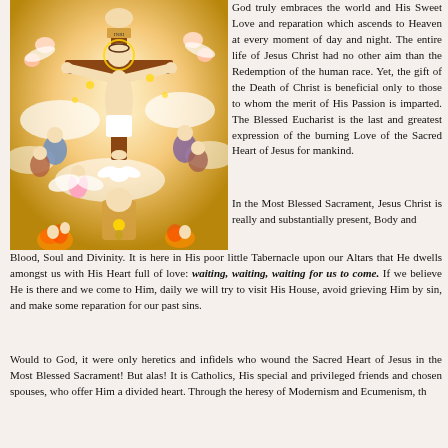[Figure (illustration): Religious illustration showing Jesus Christ crucified on the cross, surrounded by angels, saints, the Holy Spirit dove, God the Father above, a saint below holding the Blessed Sacrament, and souls in purgatory at the bottom.]
God truly embraces the world and His Sweet Love and reparation which ascends to Heaven at every moment of day and night. The entire life of Jesus Christ had no other aim than the Redemption of the human race. Yet, the gift of the Death of Christ is beneficial only to those to whom the merit of His Passion is imparted. The Blessed Eucharist is the last and greatest expression of the burning Love of the Sacred Heart of Jesus for mankind.
In the Most Blessed Sacrament, Jesus Christ is really and substantially present, Body and Blood, Soul and Divinity. It is here in His poor little Tabernacle upon our Altars that He dwells amongst us with His Heart full of love: waiting, waiting, waiting for us to come. If we believe He is there and we come to Him, daily we will try to visit His House, avoid grieving Him by sin, and make some reparation for our past sins.
Would to God, it were only heretics and infidels who wound the Sacred Heart of Jesus in the Most Blessed Sacrament! But alas! It is Catholics, His special and privileged friends and chosen spouses, who offer Him a divided heart. Through the heresy of Modernism and Ecumenism, th